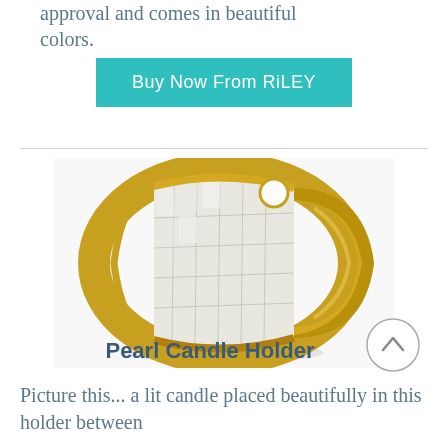approval and comes in beautiful colors.
Buy Now From RiLEY
[Figure (photo): A gold and pearl/mother-of-pearl napkin ring or candle holder, cylindrical shape with white mosaic-tiled inlay and gold-tone metal band, featuring a small circular cutout at the top.]
Pearl Candle Holder
Picture this... a lit candle placed beautifully in this holder between